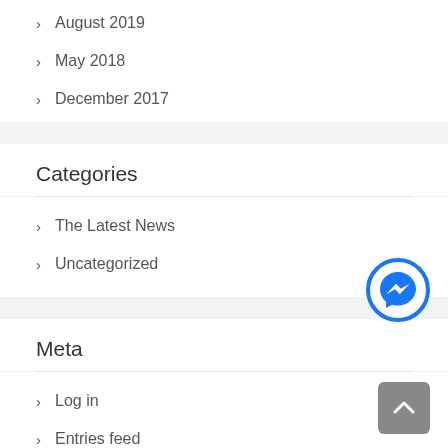> August 2019
> May 2018
> December 2017
Categories
> The Latest News
> Uncategorized
[Figure (logo): Facebook Messenger icon button (blue circle with lightning bolt speech bubble)]
Meta
> Log in
> Entries feed
> Comments feed
> WordPress.org
[Figure (other): Gray scroll-to-top button with upward chevron arrow]